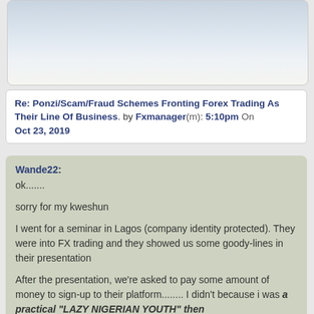[Figure (photo): Light blue/grey gradient background image, resembling a sky or blurred background photo]
Re: Ponzi/Scam/Fraud Schemes Fronting Forex Trading As Their Line Of Business. by Fxmanager(m): 5:10pm On Oct 23, 2019
Wande22:
ok.......

sorry for my kweshun

I went for a seminar in Lagos (company identity protected). They were into FX trading and they showed us some goody-lines in their presentation

After the presentation, we're asked to pay some amount of money to sign-up to their platform........ I didn't because i was a practical "LAZY NIGERIAN YOUTH" then